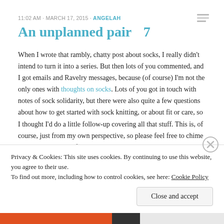11:02 AM · MARCH 17, 2015 · ANGELAH
An unplanned pair  7
When I wrote that rambly, chatty post about socks, I really didn't intend to turn it into a series. But then lots of you commented, and I got emails and Ravelry messages, because (of course) I'm not the only ones with thoughts on socks. Lots of you got in touch with notes of sock solidarity, but there were also quite a few questions about how to get started with sock knitting, or about fit or care, so I thought I'd do a little follow-up covering all that stuff. This is, of course, just from my own perspective, so please feel free to chime in in the comments if you have tips/tricks/patterns to add to this sock primer.
Privacy & Cookies: This site uses cookies. By continuing to use this website, you agree to their use.
To find out more, including how to control cookies, see here: Cookie Policy
Close and accept